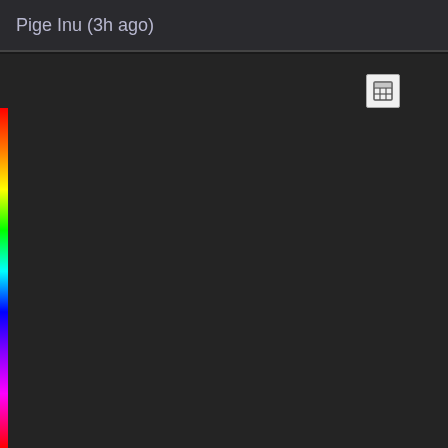Pige Inu (3h ago)
[Figure (screenshot): Dark content area with a small icon button in the upper right. A rainbow gradient strip runs along the left edge of the content area.]